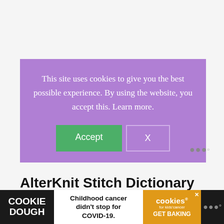[Figure (screenshot): Cookie consent popup with purple background. Text reads: 'This site uses cookies to give you the best possible experience. By using the website, you accept this. Learn more.' Two buttons: green 'Accept' button and outlined 'X' button.]
AlterKnit Stitch Dictionary
[Figure (screenshot): Cookie Dough advertisement banner. Left: 'COOKIE DOUGH' text on dark background. Middle: 'Childhood cancer didn't stop for COVID-19.' Right: Orange section with 'cookies for kids cancer GET BAKING'. Far right: Wirecutter logo dots.]